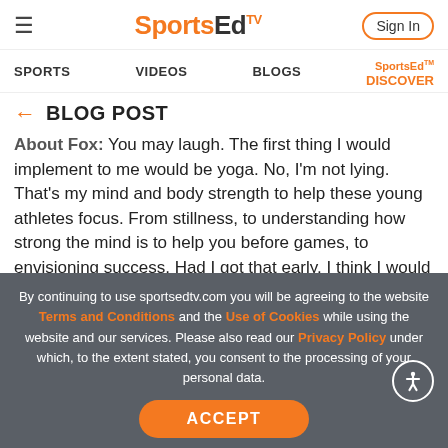SportsEdTV — Sign In
SPORTS   VIDEOS   BLOGS   SportsEd™ DISCOVER
← BLOG POST
About Fox: You may laugh. The first thing I would implement to me would be yoga. No, I'm not lying. That's my mind and body strength to help these young athletes focus. From stillness, to understanding how strong the mind is to help you before games, to envisioning success. Had I got that early, I think I would excel. You think you put on some music, you bob your head and you're ready to play. You really perform. It's so
By continuing to use sportsedtv.com you will be agreeing to the website Terms and Conditions and the Use of Cookies while using the website and our services. Please also read our Privacy Policy under which, to the extent stated, you consent to the processing of your personal data.
ACCEPT